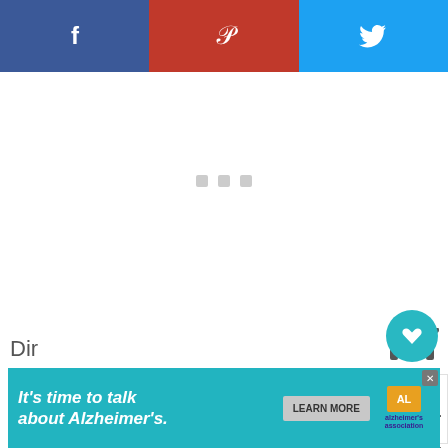[Figure (screenshot): Social share bar with Facebook (blue), Pinterest (red), Twitter (light blue) buttons]
[Figure (screenshot): White content area with three small grey loading placeholder dots in center]
[Figure (infographic): Heart/like button (teal circle), count 118, and share icon widget on right side]
[Figure (screenshot): What's Next panel showing Ferris Wheel Cupcake thumbnail and title]
Easy Hot Fudge Sundae Cupcakes!
[Figure (screenshot): Alzheimer's Association advertisement banner: It's time to talk about Alzheimer's. Learn More button.]
Dir